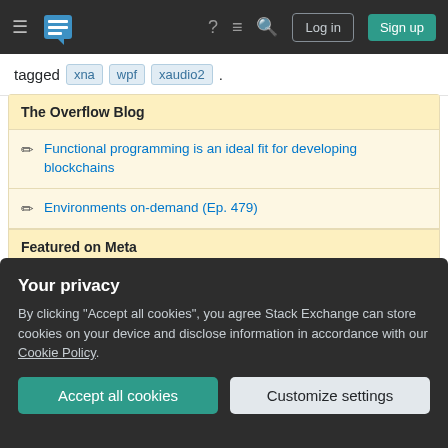Stack Overflow navigation bar with Log in and Sign up buttons
tagged xna wpf xaudio2 .
The Overflow Blog
Functional programming is an ideal fit for developing blockchains
Environments on-demand (Ep. 479)
Featured on Meta
Announcing the Stack Overflow Student Ambassador
Your privacy
By clicking "Accept all cookies", you agree Stack Exchange can store cookies on your device and disclose information in accordance with our Cookie Policy.
Accept all cookies   Customize settings
Septemberbash 2022 Showcase!